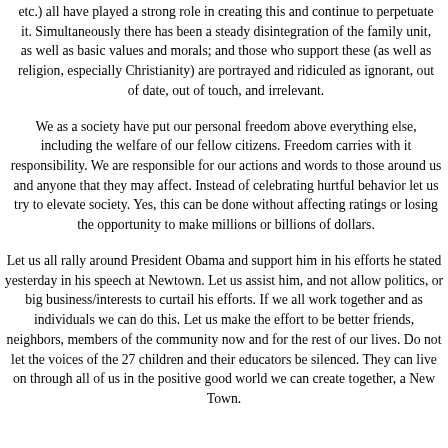etc.) all have played a strong role in creating this and continue to perpetuate it. Simultaneously there has been a steady disintegration of the family unit, as well as basic values and morals; and those who support these (as well as religion, especially Christianity) are portrayed and ridiculed as ignorant, out of date, out of touch, and irrelevant.
We as a society have put our personal freedom above everything else, including the welfare of our fellow citizens. Freedom carries with it responsibility. We are responsible for our actions and words to those around us and anyone that they may affect. Instead of celebrating hurtful behavior let us try to elevate society. Yes, this can be done without affecting ratings or losing the opportunity to make millions or billions of dollars.
Let us all rally around President Obama and support him in his efforts he stated yesterday in his speech at Newtown. Let us assist him, and not allow politics, or big business/interests to curtail his efforts. If we all work together and as individuals we can do this. Let us make the effort to be better friends, neighbors, members of the community now and for the rest of our lives. Do not let the voices of the 27 children and their educators be silenced. They can live on through all of us in the positive good world we can create together, a New Town.